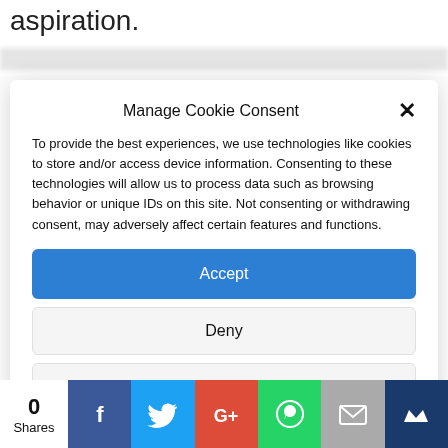aspiration.
Manage Cookie Consent
To provide the best experiences, we use technologies like cookies to store and/or access device information. Consenting to these technologies will allow us to process data such as browsing behavior or unique IDs on this site. Not consenting or withdrawing consent, may adversely affect certain features and functions.
Accept
Deny
View preferences
Cookie Policy   Privacy policy
0 Shares